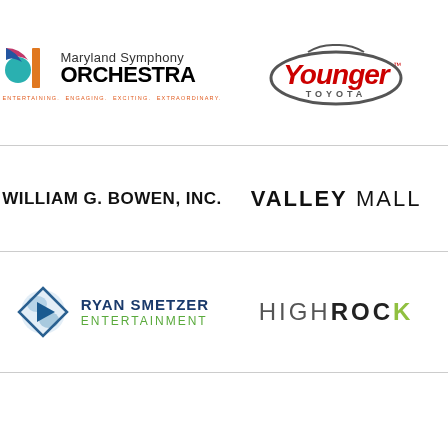[Figure (logo): Maryland Symphony Orchestra logo with colorful icon and tagline: ENTERTAINING. ENGAGING. EXCITING. EXTRAORDINARY.]
[Figure (logo): Younger Toyota logo in red italic text inside an oval with a car silhouette]
[Figure (logo): William G. Bowen, Inc. text logo in bold black uppercase]
[Figure (logo): Valley Mall text logo in uppercase letters]
[Figure (logo): Ryan Smetzer Entertainment logo with diamond/play-button icon and blue/green text]
[Figure (logo): HighRock logo in mixed weight gray and green text]